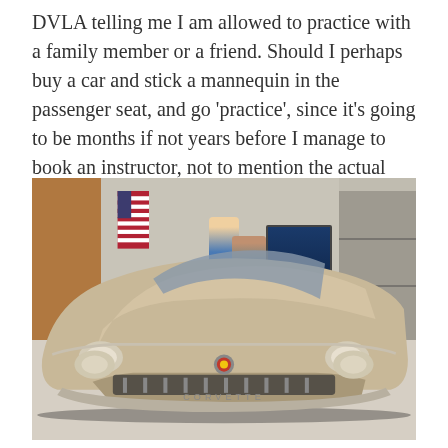DVLA telling me I am allowed to practice with a family member or a friend. Should I perhaps buy a car and stick a mannequin in the passenger seat, and go 'practice', since it's going to be months if not years before I manage to book an instructor, not to mention the actual test ?
[Figure (photo): A classic champagne/gold Corvette sports car parked in an indoor showroom or museum. Behind the car stands a female mannequin and a real woman posing together. Background includes an American flag, shelving units with collectibles, and a pinball machine to the right.]